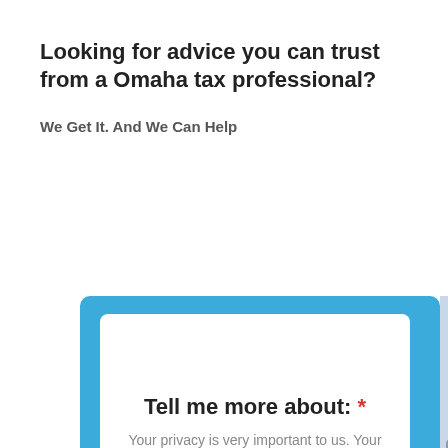Looking for advice you can trust from a Omaha tax professional?
We Get It. And We Can Help
[Figure (screenshot): A web form widget with blue border, containing a prompt 'Tell me more about: *' with a privacy note and a radio button option for 'Income Tax Strategy']
Tell me more about: *
Your privacy is very important to us. Your information is never shared or sold.
Income Tax Strategy